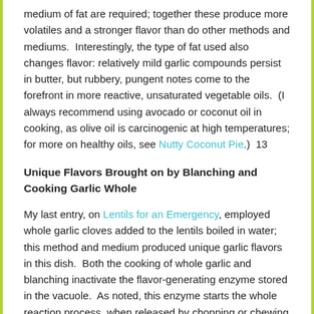medium of fat are required; together these produce more volatiles and a stronger flavor than do other methods and mediums.  Interestingly, the type of fat used also changes flavor: relatively mild garlic compounds persist in butter, but rubbery, pungent notes come to the forefront in more reactive, unsaturated vegetable oils.  (I always recommend using avocado or coconut oil in cooking, as olive oil is carcinogenic at high temperatures; for more on healthy oils, see Nutty Coconut Pie.)  13
Unique Flavors Brought on by Blanching and Cooking Garlic Whole
My last entry, on Lentils for an Emergency, employed whole garlic cloves added to the lentils boiled in water; this method and medium produced unique garlic flavors in this dish.  Both the cooking of whole garlic and blanching inactivate the flavor-generating enzyme stored in the vacuole.  As noted, this enzyme starts the whole reaction process, when released by chopping or chewing raw garlic; thus, sulfurous molecules are produced that continue to evolve into other compounds, and various flavors result as seen above.  Boiling, or blanching, the whole garlic in with the lentils limited this enzymatic action, bringing to the dish only slightly pungent, sweet nutty notes.  These same relatively